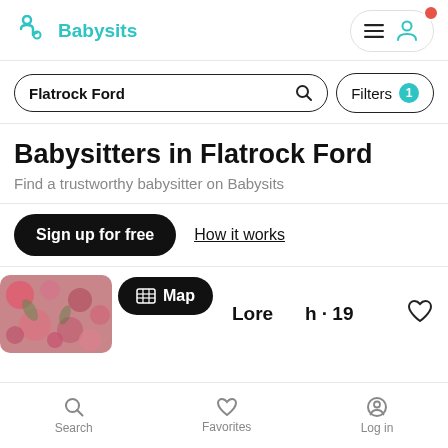[Figure (logo): Babysits logo with teal icon and teal text]
[Figure (screenshot): Header navigation with hamburger menu, avatar icon, and red notification dot]
Flatrock Ford
Filters 1
Babysitters in Flatrock Ford
Find a trustworthy babysitter on Babysits
Sign up for free
How it works
[Figure (photo): Floral photo used as babysitter profile thumbnail]
Lore...h · 19
Map
Search   Favorites   Log in